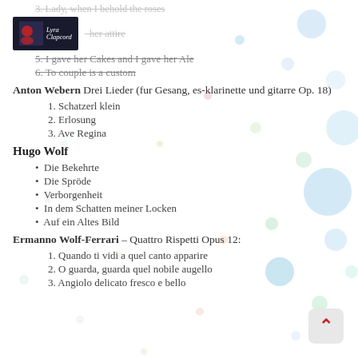3. Lady, when I behold the roses
[Figure (logo): Lyra Clapcord logo with red figure and text]
her attire
5. I gave her Cakes and I gave her Ale
6. To couple is a custom
Anton Webern Drei Lieder (fur Gesang, es-klarinette und gitarre Op. 18)
1. Schatzerl klein
2. Erlosung
3. Ave Regina
Hugo Wolf
Die Bekehrte
Die Sprode
Verborgenheit
In dem Schatten meiner Locken
Auf ein Altes Bild
Ermanno Wolf-Ferrari – Quattro Rispetti Opus 12:
1. Quando ti vidi a quel canto apparire
2. O guarda, guarda quel nobile augello
3. Angiolo delicato fresco e bello